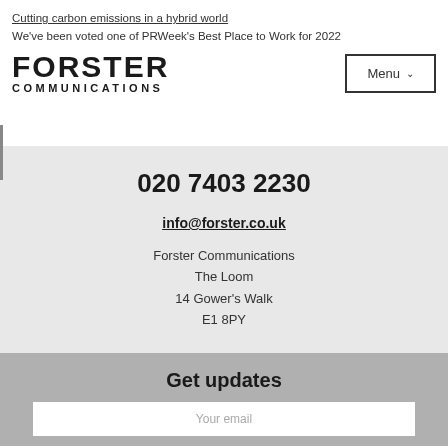Cutting carbon emissions in a hybrid world
We've been voted one of PRWeek's Best Place to Work for 2022
[Figure (logo): Forster Communications logo — bold sans-serif FORSTER on top, COMMUNICATIONS below in spaced capitals]
Menu ∨
020 7403 2230
info@forster.co.uk
Forster Communications
The Loom
14 Gower's Walk
E1 8PY
Get updates
Your email